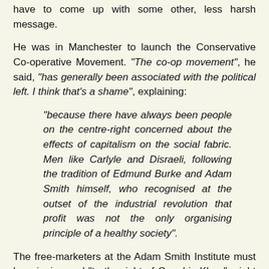have to come up with some other, less harsh message.
He was in Manchester to launch the Conservative Co-operative Movement. "The co-op movement", he said, "has generally been associated with the political left. I think that's a shame", explaining:
"because there have always been people on the centre-right concerned about the effects of capitalism on the social fabric. Men like Carlyle and Disraeli, following the tradition of Edmund Burke and Adam Smith himself, who recognised at the outset of the industrial revolution that profit was not the only organising principle of a healthy society".
The free-marketers at the Adam Smith Institute must be cringing and "to the right of Genghis Khan" might be a more accurate description of the views of Thomas Carlyle than "centre right".
Carlyle (who invented the term "the cash nexus") and Disraeli (who wrote a novel about there being "two nations"